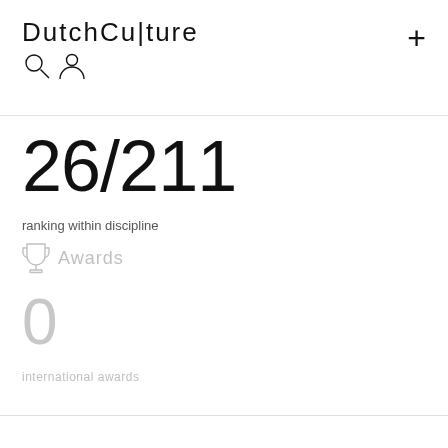DutchCu|ture
26/211
ranking within discipline
Awards
0
international awards